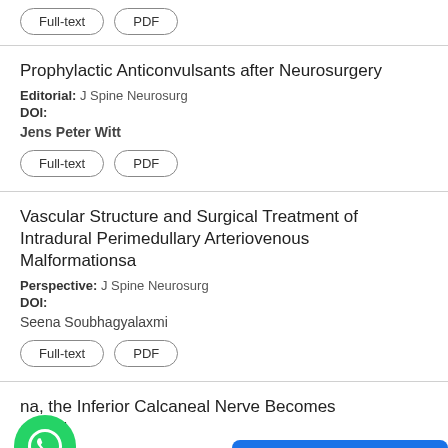Prophylactic Anticonvulsants after Neurosurgery
Editorial: J Spine Neurosurg
DOI:
Jens Peter Witt
Vascular Structure and Surgical Treatment of Intradural Perimedullary Arteriovenous Malformationsa
Perspective: J Spine Neurosurg
DOI:
Seena Soubhagyalaxmi
na, the Inferior Calcaneal Nerve Becomes apped
Perspective: J Spine Neurosurg
DOI: